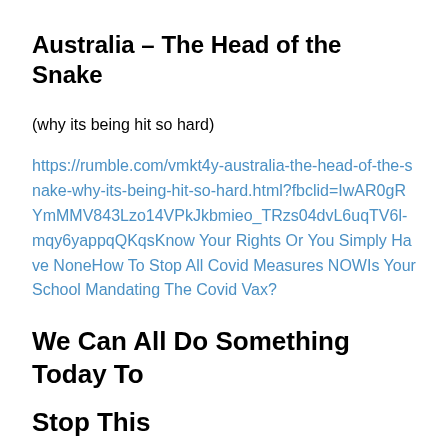Australia – The Head of the Snake
(why its being hit so hard)
https://rumble.com/vmkt4y-australia-the-head-of-the-snake-why-its-being-hit-so-hard.html?fbclid=IwAR0gRYmMMV843Lzo14VPkJkbmieo_TRzs04dvL6uqTV6l-mqy6yappqQKqsKnow Your Rights Or You Simply Have NoneHow To Stop All Covid Measures NOWIs Your School Mandating The Covid Vax?
We Can All Do Something Today To
Stop This